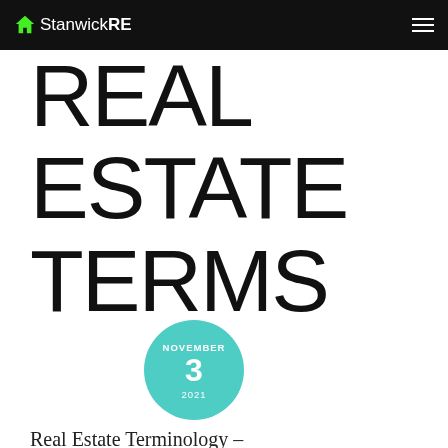StanwickRE
REAL ESTATE TERMS
NOVEMBER 3 2021
Real Estate Terminology –